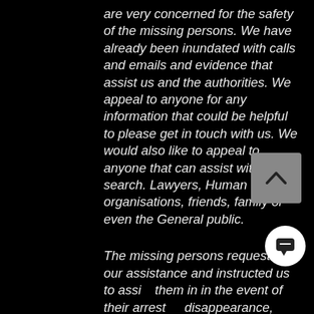are very concerned for the safety of the missing persons. We have already been inundated with calls and emails and evidence that assist us and the authorities. We appeal to anyone for any information that could be helpful to please get in touch with us. We would also like to appeal to anyone that can assist with the search. Lawyers, Human rights organisations, friends, family or even the General public.
The missing persons requested our assistance and instructed us to assist them in in the event of their arrest or disappearance, which we are now doing. We are liaising with authori' leading human rights lawyers and human rights organisations.